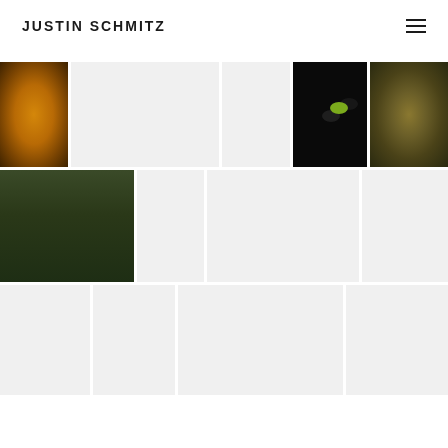JUSTIN SCHMITZ
[Figure (photo): Orange/amber toned atmospheric photo, figure visible in haze]
[Figure (photo): Light gray placeholder image]
[Figure (photo): Light gray placeholder image]
[Figure (photo): Dark photo with green bokeh light, possibly equipment]
[Figure (photo): Textured yellow-green toned photo]
[Figure (photo): Forest scene with figures in dark gear/tactical equipment]
[Figure (photo): Light gray placeholder image]
[Figure (photo): Light gray placeholder image]
[Figure (photo): Light gray placeholder image]
[Figure (photo): Light gray placeholder image]
[Figure (photo): Light gray placeholder image]
[Figure (photo): Light gray placeholder image]
[Figure (photo): Light gray placeholder image]